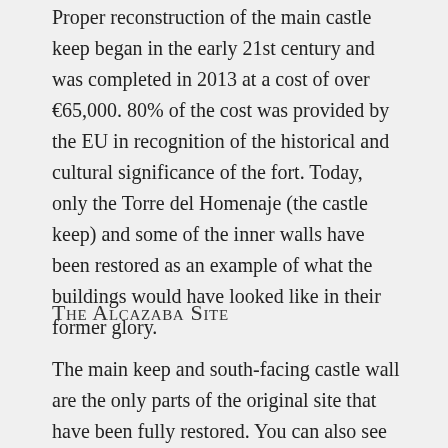Proper reconstruction of the main castle keep began in the early 21st century and was completed in 2013 at a cost of over €65,000. 80% of the cost was provided by the EU in recognition of the historical and cultural significance of the fort. Today, only the Torre del Homenaje (the castle keep) and some of the inner walls have been restored as an example of what the buildings would have looked like in their former glory.
The Alcazaba Site
The main keep and south-facing castle wall are the only parts of the original site that have been fully restored. You can also see remains of many buildings around the site. All of these buildings are from the last time that improvements were made to the Alcazaba, with the 18th-century occupants installing the latest in military